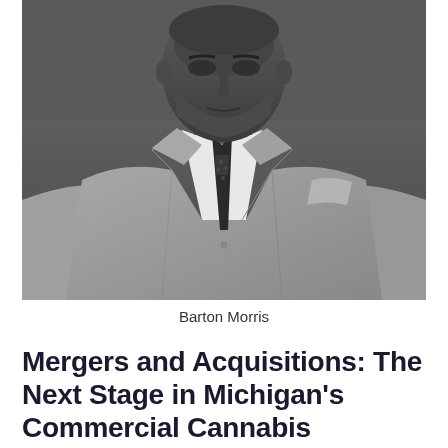[Figure (photo): Black and white professional headshot of Barton Morris, a man in a light-colored suit jacket with a dark patterned tie and pocket square.]
Barton Morris
Mergers and Acquisitions: The Next Stage in Michigan's Commercial Cannabis Industry